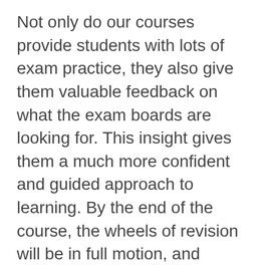Not only do our courses provide students with lots of exam practice, they also give them valuable feedback on what the exam boards are looking for. This insight gives them a much more confident and guided approach to learning. By the end of the course, the wheels of revision will be in full motion, and students will find their summer term much less daunting, and easier to manage.